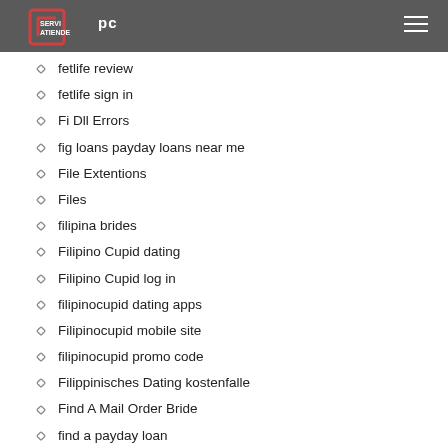SERVIATIENDE pc
fetlife review
fetlife sign in
Fi Dll Errors
fig loans payday loans near me
File Extentions
Files
filipina brides
Filipino Cupid dating
Filipino Cupid log in
filipinocupid dating apps
Filipinocupid mobile site
filipinocupid promo code
Filippinisches Dating kostenfalle
Find A Mail Order Bride
find a payday loan
find a russian bride